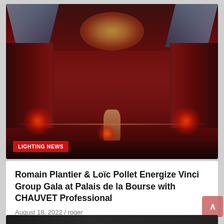[Figure (photo): Interior of Palais de la Bourse illuminated with dramatic red lighting, showing ornate baroque architecture with arched colonnades, decorative ceiling fresco, tall windows, and a central statue bathed in red light]
LIGHTING NEWS
Romain Plantier & Loïc Pollet Energize Vinci Group Gala at Palais de la Bourse with CHAUVET Professional
August 18, 2022 / roger
[Figure (logo): 3 MA logo on dark background — large white numeral '3' followed by grey 'M' box and red 'A' box with trademark symbol]